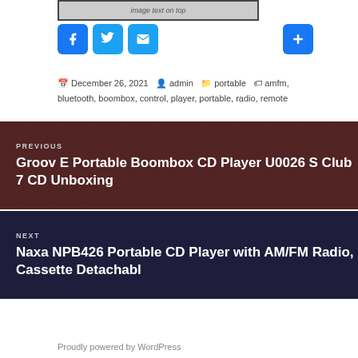[Figure (screenshot): Partial top image/banner cropped at top of page]
[Figure (infographic): Social sharing icons: Facebook (blue), Twitter (blue), Email (blue envelope), and a blue plus button]
December 26, 2021  admin  portable  amfm, bluetooth, boombox, control, player, portable, radio, remote
[Figure (photo): Previous post navigation block with dark overlay image showing stuffed animal/plush toy. Text: PREVIOUS - Groov E Portable Boombox CD Player U0026 S Club 7 CD Unboxing]
[Figure (photo): Next post navigation block with dark overlay image showing CD player mechanism. Text: NEXT - Naxa NPB426 Portable CD Player with AM/FM Radio, Cassette Detachabl]
Proudly powered by WordPress